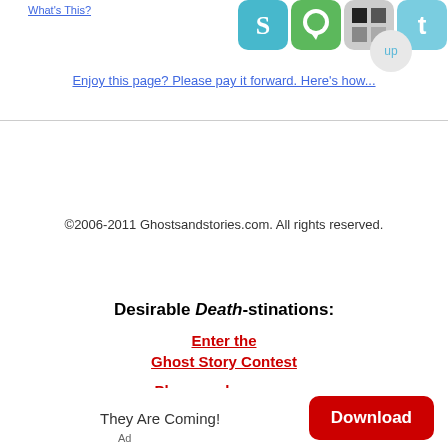What's This?
[Figure (illustration): Four social media sharing icons: StumbleUpon, a green chat/share icon, Delicious (black/grey squares), and Twitter]
Enjoy this page? Please pay it forward. Here's how...
©2006-2011 Ghostsandstories.com. All rights reserved.
Desirable Death-stinations:
Enter the Ghost Story Contest
Play spooky games
FREE Psychic Reading
Writing jobs. Work at home.
They Are Coming!
Ad